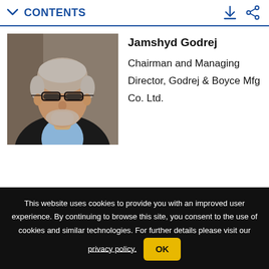CONTENTS
[Figure (photo): Portrait photo of Jamshyd Godrej, an elderly man with grey hair and glasses, wearing a dark blazer and light blue shirt, against a blurred indoor background.]
Jamshyd Godrej
Chairman and Managing Director, Godrej & Boyce Mfg Co. Ltd.
This website uses cookies to provide you with an improved user experience. By continuing to browse this site, you consent to the use of cookies and similar technologies. For further details please visit our privacy policy.